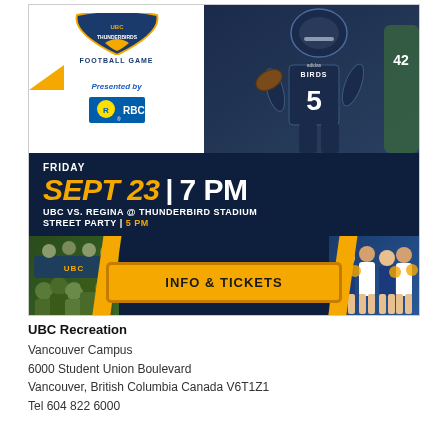[Figure (infographic): UBC Thunderbirds football game advertisement banner. Top section shows UBC Thunderbirds Football Game logo with 'Presented by RBC' and an action photo of a football player wearing number 5 in a dark jersey. Middle dark navy section shows event details: FRIDAY SEPT 23 | 7 PM, UBC VS. REGINA @ THUNDERBIRD STADIUM, STREET PARTY | 5 PM. Bottom section shows crowd/cheerleader photos flanking an orange 'INFO & TICKETS' button.]
UBC Recreation
Vancouver Campus
6000 Student Union Boulevard
Vancouver, British Columbia Canada V6T1Z1
Tel 604 822 6000